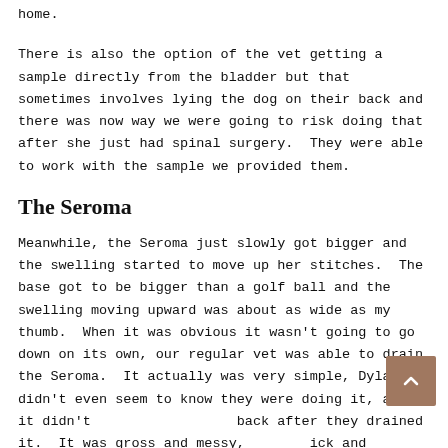home.
There is also the option of the vet getting a sample directly from the bladder but that sometimes involves lying the dog on their back and there was now way we were going to risk doing that after she just had spinal surgery.  They were able to work with the sample we provided them.
The Seroma
Meanwhile, the Seroma just slowly got bigger and the swelling started to move up her stitches.  The base got to be bigger than a golf ball and the swelling moving upward was about as wide as my thumb.  When it was obvious it wasn't going to go down on its own, our regular vet was able to drain the Seroma.  It actually was very simple, Dylan didn't even seem to know they were doing it, and it didn't come back after they drained it.  It was gross and messy, but quick and painless for Dylan and in her instance, it did not cause an